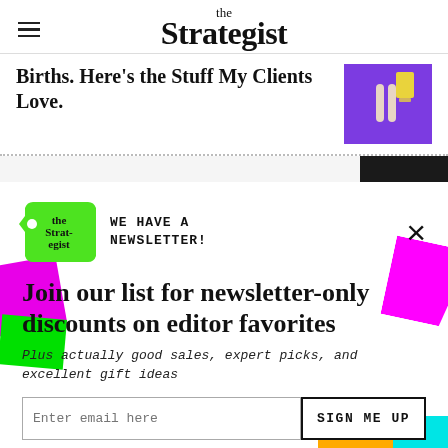the Strategist
Births. Here's the Stuff My Clients Love.
[Figure (illustration): Purple background product thumbnail image on right side of article teaser]
[Figure (infographic): Newsletter signup modal with Strategist tag logo, colorful decorative shapes (magenta, green, cyan, orange), headline, subtext, email input, and sign up button]
WE HAVE A NEWSLETTER!
Join our list for newsletter-only discounts on editor favorites
Plus actually good sales, expert picks, and excellent gift ideas
Enter email here
SIGN ME UP
NO THANKS